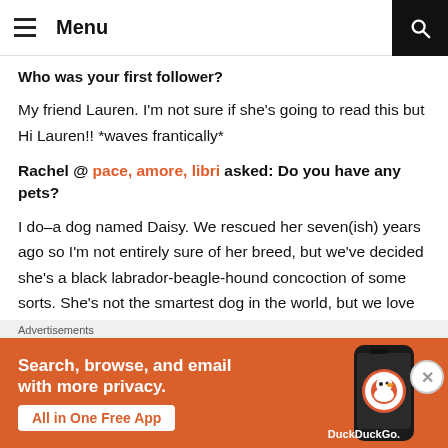Menu
Who was your first follower?
My friend Lauren.  I'm not sure if she's going to read this but Hi Lauren!! *waves frantically*
Rachel @ pace, amore, libri asked: Do you have any pets?
I do–a dog named Daisy.  We rescued her seven(ish) years ago so I'm not entirely sure of her breed, but we've decided she's a black labrador-beagle-hound concoction of some sorts.  She's not the smartest dog in the world, but we love her nonetheless.
Advertisements
[Figure (infographic): DuckDuckGo advertisement banner: Search, browse, and email with more privacy. All in One Free App. Shows phone with DuckDuckGo logo.]